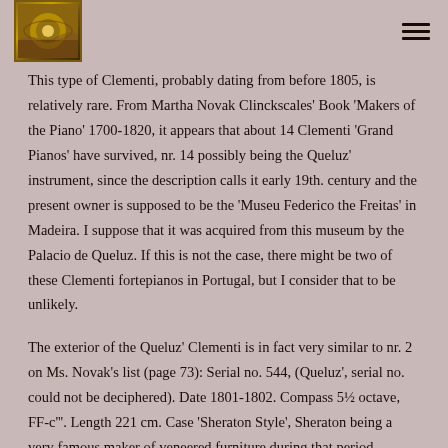[Logo image] [Hamburger menu icon]
This type of Clementi, probably dating from before 1805, is relatively rare. From Martha Novak Clinckscales' Book 'Makers of the Piano' 1700-1820, it appears that about 14 Clementi 'Grand Pianos' have survived, nr. 14 possibly being the Queluz' instrument, since the description calls it early 19th. century and the present owner is supposed to be the 'Museu Federico the Freitas' in Madeira. I suppose that it was acquired from this museum by the Palacio de Queluz. If this is not the case, there might be two of these Clementi fortepianos in Portugal, but I consider that to be unlikely.
The exterior of the Queluz' Clementi is in fact very similar to nr. 2 on Ms. Novak's list (page 73): Serial no. 544, (Queluz', serial no. could not be deciphered). Date 1801-1802. Compass 5½ octave, FF-c'''. Length 221 cm. Case 'Sheraton Style', Sheraton being a very famous maker of veneered furniture during that period.